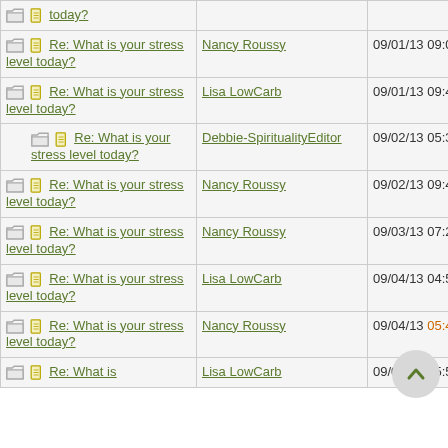| Thread | Author | Date |
| --- | --- | --- |
| Re: What is your stress level today? | Nancy Roussy | 09/01/13 09:09 PM |
| Re: What is your stress level today? | Lisa LowCarb | 09/01/13 09:42 PM |
| Re: What is your stress level today? | Debbie-SpiritualityEditor | 09/02/13 05:37 PM |
| Re: What is your stress level today? | Nancy Roussy | 09/02/13 09:46 PM |
| Re: What is your stress level today? | Nancy Roussy | 09/03/13 07:23 PM |
| Re: What is your stress level today? | Lisa LowCarb | 09/04/13 04:52 PM |
| Re: What is your stress level today? | Nancy Roussy | 09/04/13 05:46 PM |
| Re: What is your stress level today? | Lisa LowCarb | 09/04/13 05:52 PM |